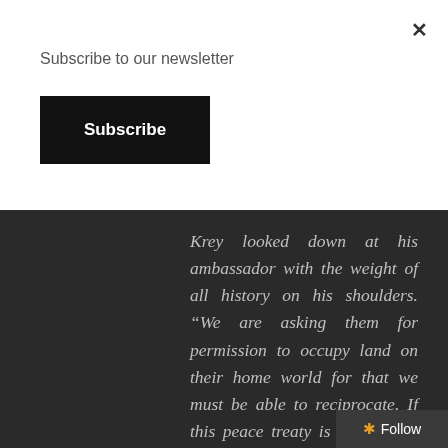Subscribe to our newsletter
Subscribe
Krey looked down at his ambassador with the weight of all history on his shoulders. “We are asking them for permission to occupy land on their home world for that we must be able to reciprocate. If this peace treaty is not signed, they will kill every Votainion on this planet and occupy it forever. Which do you find more
Follow